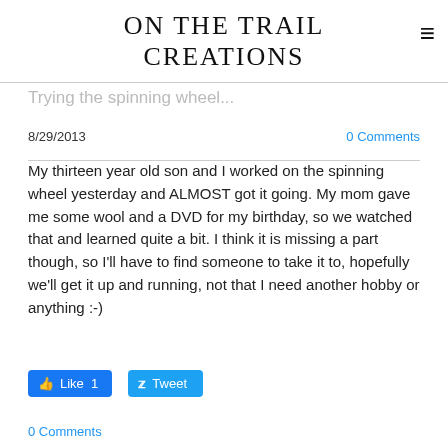ON THE TRAIL CREATIONS
Trying the spinning wheel...
8/29/2013
0 Comments
My thirteen year old son and I worked on the spinning wheel yesterday and ALMOST got it going. My mom gave me some wool and a DVD for my birthday, so we watched that and learned quite a bit. I think it is missing a part though, so I'll have to find someone to take it to, hopefully we'll get it up and running, not that I need another hobby or anything :-)
Like 1
Tweet
0 Comments